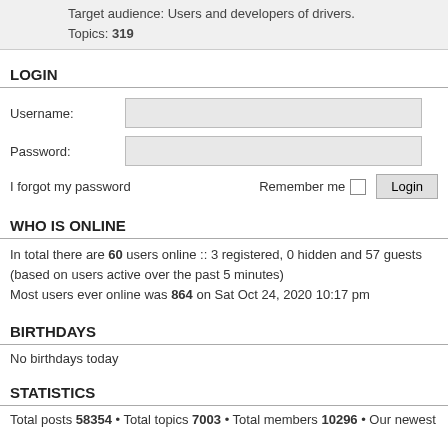Target audience: Users and developers of drivers. Topics: 319
LOGIN
Username:
Password:
I forgot my password   Remember me   Login
WHO IS ONLINE
In total there are 60 users online :: 3 registered, 0 hidden and 57 guests (based on users active over the past 5 minutes)
Most users ever online was 864 on Sat Oct 24, 2020 10:17 pm
BIRTHDAYS
No birthdays today
STATISTICS
Total posts 58354 • Total topics 7003 • Total members 10296 • Our newest